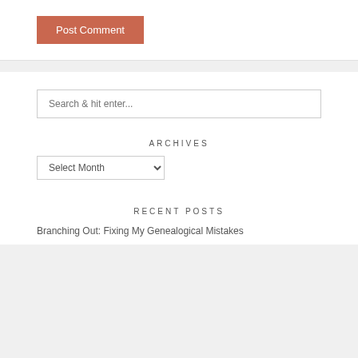Post Comment
ARCHIVES
RECENT POSTS
Branching Out: Fixing My Genealogical Mistakes